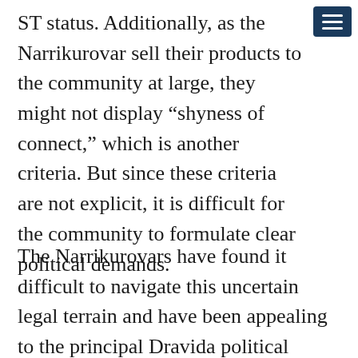ST status. Additionally, as the Narrikurovar sell their products to the community at large, they might not display “shyness of connect,” which is another criteria. But since these criteria are not explicit, it is difficult for the community to formulate clear political demands.
The Narrikurovars have found it difficult to navigate this uncertain legal terrain and have been appealing to the principal Dravida political parties, the DMK and AIADMK. The latter, in turn, have pleaded with the central government, stating that: “the community leading a nomadic life was in a pathetic condition.” Since 2013, the Narrikurovars have focused their efforts on grassroots political